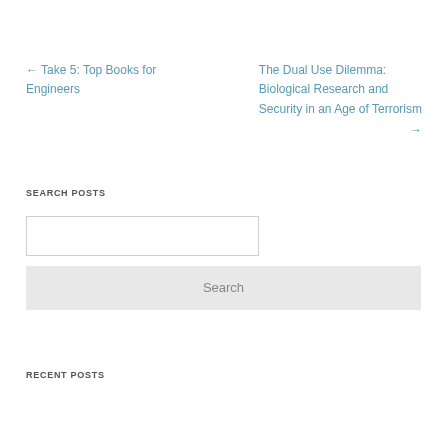← Take 5: Top Books for Engineers
The Dual Use Dilemma: Biological Research and Security in an Age of Terrorism →
SEARCH POSTS
Search
RECENT POSTS